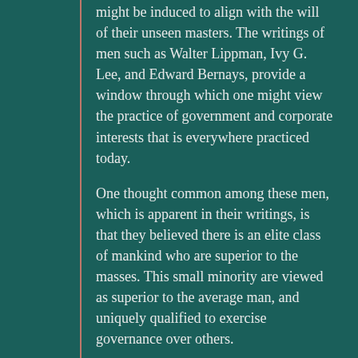might be induced to align with the will of their unseen masters. The writings of men such as Walter Lippman, Ivy G. Lee, and Edward Bernays, provide a window through which one might view the practice of government and corporate interests that is everywhere practiced today.
One thought common among these men, which is apparent in their writings, is that they believed there is an elite class of mankind who are superior to the masses. This small minority are viewed as superior to the average man, and uniquely qualified to exercise governance over others.
Walter Lippman, who was the dean of American journalists, is the man who invented the phrase manufacture of consent. He described the manufacture of consent as a self-conscious art and